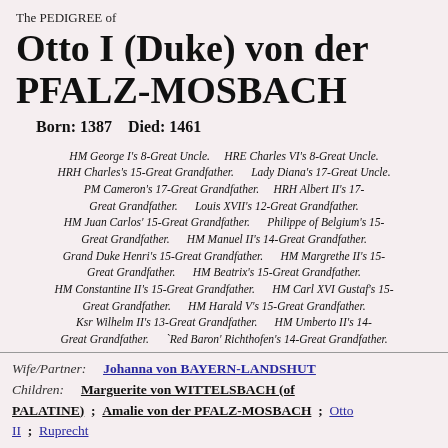The PEDIGREE of
Otto I (Duke) von der PFALZ-MOSBACH
Born:  1387   Died:  1461
HM George I's 8-Great Uncle.   HRE Charles VI's 8-Great Uncle.   HRH Charles's 15-Great Grandfather.   Lady Diana's 17-Great Uncle.   PM Cameron's 17-Great Grandfather.   HRH Albert II's 17-Great Grandfather.   Louis XVII's 12-Great Grandfather.   HM Juan Carlos' 15-Great Grandfather.   Philippe of Belgium's 15-Great Grandfather.   HM Manuel II's 14-Great Grandfather.   Grand Duke Henri's 15-Great Grandfather.   HM Margrethe II's 15-Great Grandfather.   HM Beatrix's 15-Great Grandfather.   HM Constantine II's 15-Great Grandfather.   HM Carl XVI Gustaf's 15-Great Grandfather.   HM Harald V's 15-Great Grandfather.   Ksr Wilhelm II's 13-Great Grandfather.   HM Umberto II's 14-Great Grandfather.   'Red Baron' Richthofen's 14-Great Grandfather.
Wife/Partner: Johanna von BAYERN-LANDSHUT
Children: Marguerite von WITTELSBACH (of PALATINE) ; Amalie von der PFALZ-MOSBACH ; Otto II ; Ruprecht